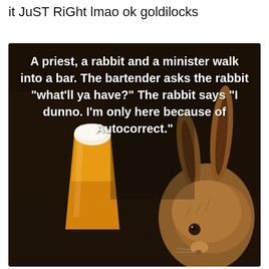it JuST RiGht lmao ok goldilocks
[Figure (photo): A meme image with a dark background showing a classical-style painting of a rabbit sitting next to a tall glass of beer on a dark table. Overlaid bold white text reads: 'A priest, a rabbit and a minister walk into a bar. The bartender asks the rabbit "what'll ya have?" The rabbit says "I dunno. I'm only here because of Autocorrect."']